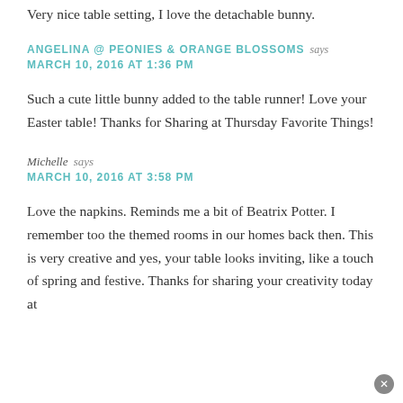Very nice table setting, I love the detachable bunny.
ANGELINA @ PEONIES & ORANGE BLOSSOMS says
MARCH 10, 2016 AT 1:36 PM
Such a cute little bunny added to the table runner! Love your Easter table! Thanks for Sharing at Thursday Favorite Things!
Michelle says
MARCH 10, 2016 AT 3:58 PM
Love the napkins. Reminds me a bit of Beatrix Potter. I remember too the themed rooms in our homes back then. This is very creative and yes, your table looks inviting, like a touch of spring and festive. Thanks for sharing your creativity today at